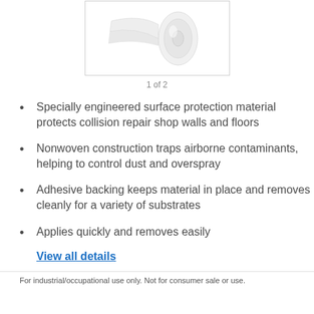[Figure (photo): A roll of white nonwoven surface protection material, partially unrolled, shown against a white background inside a bordered image box. Below the image is a counter showing '1 of 2'.]
1 of 2
Specially engineered surface protection material protects collision repair shop walls and floors
Nonwoven construction traps airborne contaminants, helping to control dust and overspray
Adhesive backing keeps material in place and removes cleanly for a variety of substrates
Applies quickly and removes easily
View all details
For industrial/occupational use only. Not for consumer sale or use.